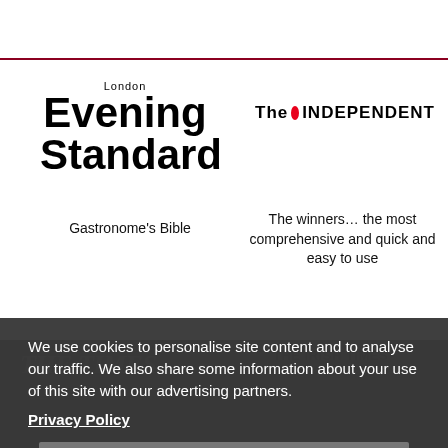[Figure (logo): London Evening Standard newspaper logo]
Gastronome's Bible
[Figure (logo): The Independent newspaper logo with red circle dot]
The winners... the most comprehensive and quick and easy to use
[Figure (logo): The Irish Times newspaper logo with grid icon]
[Figure (logo): The Times newspaper logo in italic serif]
We use cookies to personalise site content and to analyse our traffic. We also share some information about your use of this site with our advertising partners.
Privacy Policy
Accept